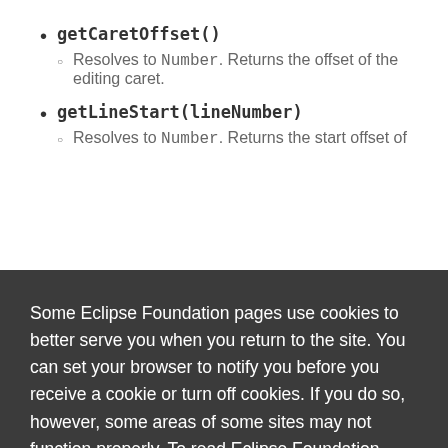getCaretOffset()
Resolves to Number. Returns the offset of the editing caret.
getLineStart(lineNumber)
Resolves to Number. Returns the start offset of
Some Eclipse Foundation pages use cookies to better serve you when you return to the site. You can set your browser to notify you before you receive a cookie or turn off cookies. If you do so, however, some areas of some sites may not function properly. To read Eclipse Foundation Privacy Policy click here.
Decline | Allow cookies
Resolves to onSetLineNumber. Sets the caret offset. If show is true, the editor will scroll to the new